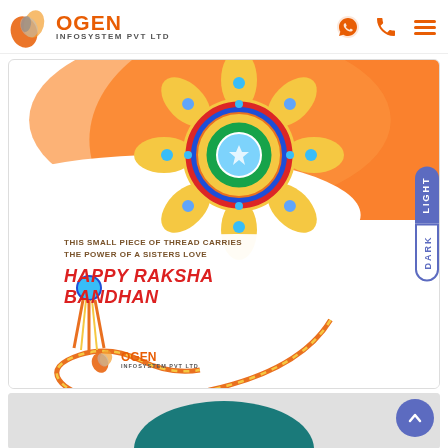Ogen Infosystem Pvt Ltd - website header with logo and navigation icons
[Figure (illustration): Raksha Bandhan greeting card with decorative rakhi (colorful mandala-style bracelet with blue gems and golden petals), orange background swirl, twisted orange-yellow thread/tassel at bottom, text reading 'THIS SMALL PIECE OF THREAD CARRIES THE POWER OF A SISTERS LOVE' and 'HAPPY RAKSHA BANDHAN' with Ogen Infosystem logo. Side buttons labeled LIGHT and DARK on the right edge.]
[Figure (illustration): Partial view of another card/image showing a teal/green semicircle arc at the bottom of the page, with a scroll-to-top arrow button overlaid.]